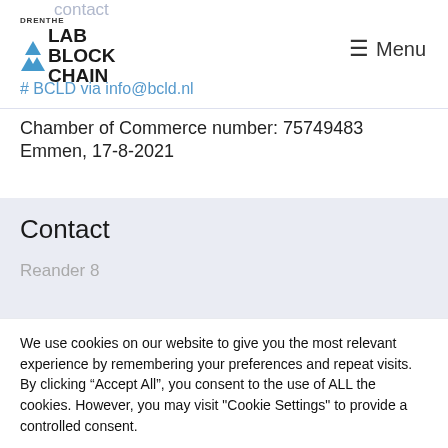Contact | DRENTHE LAB BLOCK CHAIN | Menu
# BCLD via info@bcld.nl
Chamber of Commerce number: 75749483
Emmen, 17-8-2021
Contact
Reander 8
We use cookies on our website to give you the most relevant experience by remembering your preferences and repeat visits. By clicking “Accept All”, you consent to the use of ALL the cookies. However, you may visit "Cookie Settings" to provide a controlled consent.
Cookie Settings | Accept All